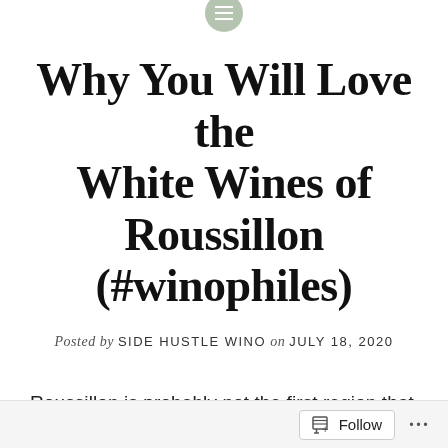Why You Will Love the White Wines of Roussillon (#winophiles)
Posted by SIDE HUSTLE WINO on JULY 18, 2020
Roussillon is probably not the first region that comes to the tip of your tongue when you think of French
Follow ...